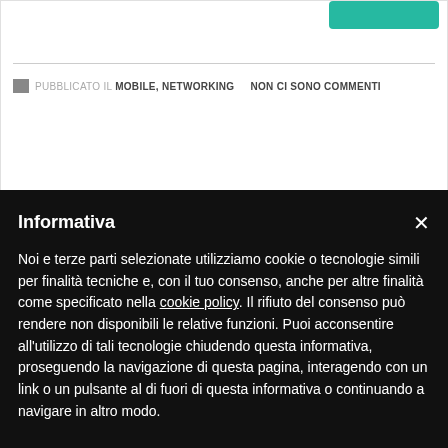[Figure (other): Teal/green button partially visible at top right of first card]
PUBBLICATO IL MOBILE, NETWORKING   NON CI SONO COMMENTI
Compellingly administrate vertical strategic theme areas
Informativa
Noi e terze parti selezionate utilizziamo cookie o tecnologie simili per finalità tecniche e, con il tuo consenso, anche per altre finalità come specificato nella cookie policy. Il rifiuto del consenso può rendere non disponibili le relative funzioni. Puoi acconsentire all'utilizzo di tali tecnologie chiudendo questa informativa, proseguendo la navigazione di questa pagina, interagendo con un link o un pulsante al di fuori di questa informativa o continuando a navigare in altro modo.